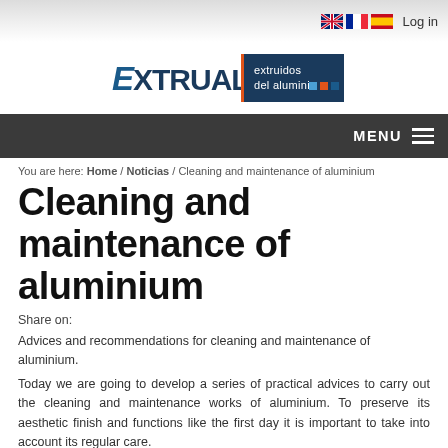EXTRUAL extruidos del aluminio | Log in
You are here: Home / Noticias / Cleaning and maintenance of aluminium
Cleaning and maintenance of aluminium
Share on:
Advices and recommendations for cleaning and maintenance of aluminium.
Today we are going to develop a series of practical advices to carry out the cleaning and maintenance works of aluminium. To preserve its aesthetic finish and functions like the first day it is important to take into account its regular care.